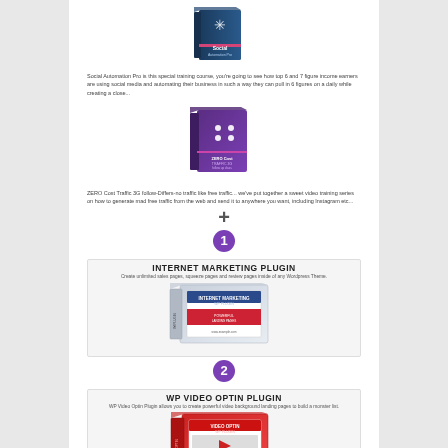[Figure (illustration): Social Automation Pro product box - teal/pink design]
Social Automation Pro is this special training course, you're going to see how top 6 and 7 figure income earners are using social media and automating their business in such a way they can pull in 6 figures on a daily while creating a close...
[Figure (illustration): Zero Cost Traffic 3G product box - purple design]
ZERO Cost Traffic 3G follow-Differs-no traffic like free traffic... we've put together a sweet video training series on how to generate mad free traffic from the web and send it to anywhere you want, including Instagram etc...
[Figure (other): Plus sign symbol]
[Figure (other): Badge with number 1]
INTERNET MARKETING PLUGIN
Create unlimited sales pages, squeeze pages and review pages inside of any Wordpress Theme.
[Figure (illustration): Internet Marketing WP Plugin product box]
[Figure (other): Badge with number 2]
WP VIDEO OPTIN PLUGIN
WP Video Optin Plugin allows you to create powerful video background landing pages to build a monster list.
[Figure (illustration): Video Optin WP Plugin product box]